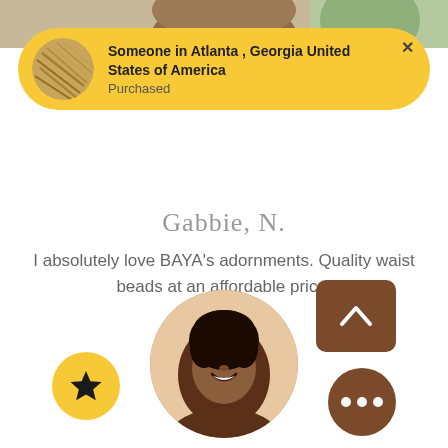[Figure (photo): Top portion of a person's face visible at the top of the page]
Someone in Atlanta , Georgia United States of America
Purchased
[Figure (photo): Small circular avatar showing hair/head of a person in golden notification banner]
Gabbie, N.
I absolutely love BAYA's adornments. Quality waist beads at an affordable price.
””
[Figure (photo): Smiling young Black woman with short natural hair, circular profile photo at bottom center]
[Figure (other): Yellow circular star/favorite button on left side]
[Figure (other): Brown rounded rectangle up-arrow navigation button on right side]
[Figure (other): Brown circular more/options button with three dots on right side]